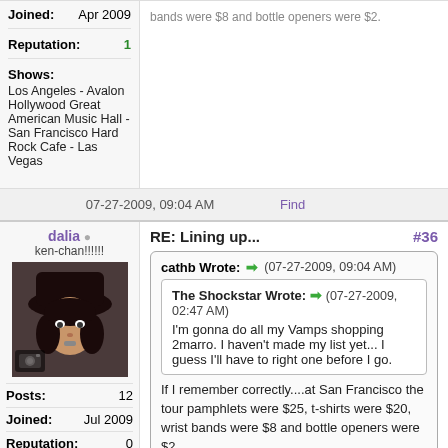Joined: Apr 2009
Reputation: 1
Shows: Los Angeles - Avalon Hollywood Great American Music Hall - San Francisco Hard Rock Cafe - Las Vegas
07-27-2009, 09:04 AM
Find
dalia
ken-chan!!!!!!
[Figure (photo): Avatar photo of user dalia: person wearing a dark hat]
Posts: 12
Joined: Jul 2009
Reputation: 0
Shows: 2010 - LA, SF 2009 - SF, SD, LA
RE: Lining up...
#36
cathb Wrote: ➡ (07-27-2009, 09:04 AM)
The Shockstar Wrote: ➡ (07-27-2009, 02:47 AM)
I'm gonna do all my Vamps shopping 2marro. I haven't made my list yet... I guess I'll have to right one before I go.
If I remember correctly....at San Francisco the tour pamphlets were $25, t-shirts were $20, wrist bands were $8 and bottle openers were $2.
and the bags were $5.